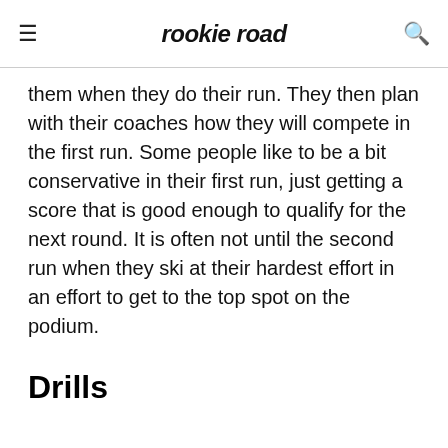rookie road
them when they do their run. They then plan with their coaches how they will compete in the first run. Some people like to be a bit conservative in their first run, just getting a score that is good enough to qualify for the next round. It is often not until the second run when they ski at their hardest effort in an effort to get to the top spot on the podium.
Drills